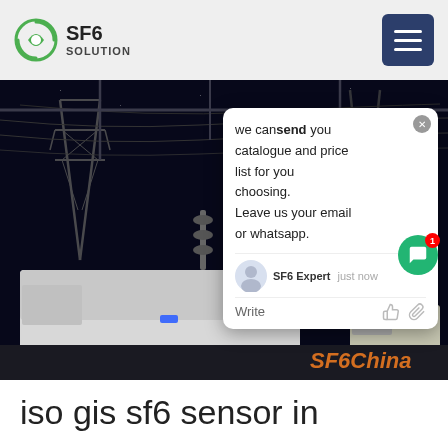SF6 SOLUTION
[Figure (photo): Night-time photo of electrical substation with high-voltage transmission towers and service trucks/vehicles parked in the foreground. A chat popup overlay is visible with message 'we can send you catalogue and price list for you choosing. Leave us your email or whatsapp.' SF6China watermark in orange at bottom right.]
iso gis sf6 sensor in